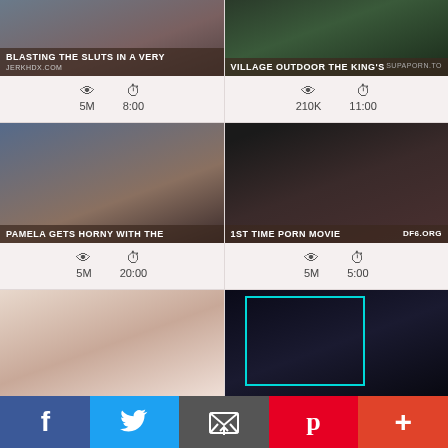[Figure (screenshot): Video thumbnail with title BLASTING THE SLUTS IN A VERY, views 5M, duration 8:00]
[Figure (screenshot): Video thumbnail with title VILLAGE OUTDOOR THE KING'S, views 210K, duration 11:00]
[Figure (screenshot): Video thumbnail with title PAMELA GETS HORNY WITH THE, views 5M, duration 20:00]
[Figure (screenshot): Video thumbnail with title 1ST TIME PORN MOVIE DF6.ORG, views 5M, duration 5:00]
[Figure (screenshot): Video thumbnail bottom left, no title visible]
[Figure (screenshot): Video thumbnail bottom right, no title visible]
f  (Twitter bird)  (envelope)  p  +